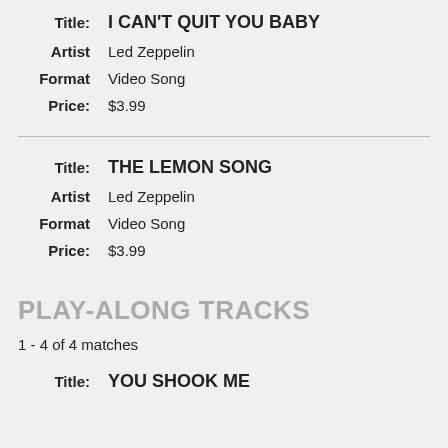Title: I CAN'T QUIT YOU BABY
Artist: Led Zeppelin
Format: Video Song
Price: $3.99
Title: THE LEMON SONG
Artist: Led Zeppelin
Format: Video Song
Price: $3.99
PLAY-ALONG TRACKS
1 - 4 of 4 matches
Title: YOU SHOOK ME